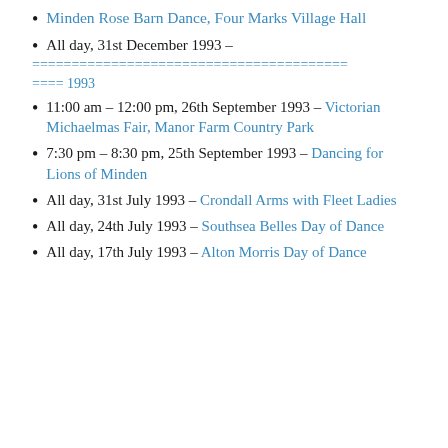Minden Rose Barn Dance, Four Marks Village Hall
All day, 31st December 1993 –
======================================== ==== 1993
11:00 am – 12:00 pm, 26th September 1993 – Victorian Michaelmas Fair, Manor Farm Country Park
7:30 pm – 8:30 pm, 25th September 1993 – Dancing for Lions of Minden
All day, 31st July 1993 – Crondall Arms with Fleet Ladies
All day, 24th July 1993 – Southsea Belles Day of Dance
All day, 17th July 1993 – Alton Morris Day of Dance